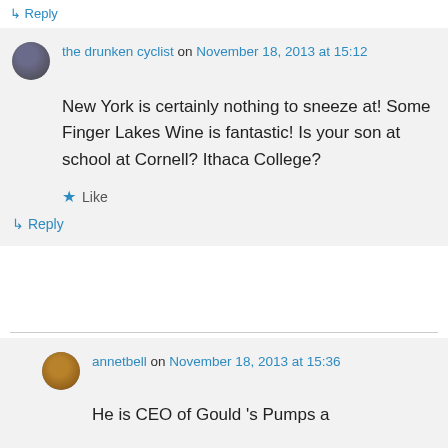↳ Reply
the drunken cyclist on November 18, 2013 at 15:12
New York is certainly nothing to sneeze at! Some Finger Lakes Wine is fantastic! Is your son at school at Cornell? Ithaca College?
★ Like
↳ Reply
annetbell on November 18, 2013 at 15:36
He is CEO of Gould's Pumps a